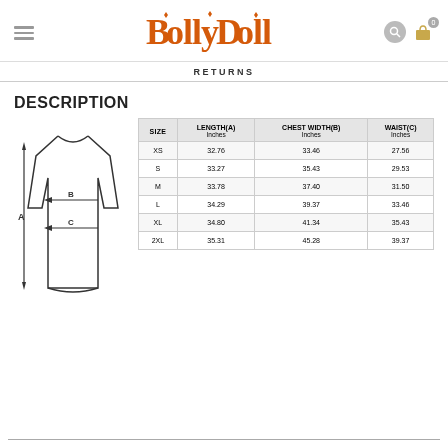[Figure (logo): BollyDoll brand logo in orange/red decorative font with diamond accent marks]
RETURNS
DESCRIPTION
[Figure (illustration): Garment size diagram showing a dress/top with arrows indicating measurement points: A (length, vertical), B (chest width, horizontal), C (waist, horizontal)]
| SIZE | LENGTH(A) Inches | CHEST WIDTH(B) Inches | WAIST(C) Inches |
| --- | --- | --- | --- |
| XS | 32.76 | 33.46 | 27.56 |
| S | 33.27 | 35.43 | 29.53 |
| M | 33.78 | 37.40 | 31.50 |
| L | 34.29 | 39.37 | 33.46 |
| XL | 34.80 | 41.34 | 35.43 |
| 2XL | 35.31 | 45.28 | 39.37 |